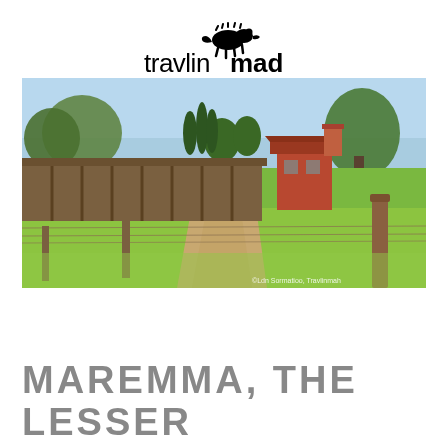[Figure (logo): travlinmad logo with chameleon silhouette above the text]
[Figure (photo): A Maremma countryside farm scene with a long low building/stable on the left, a gravel dirt path leading through green grass, a wooden fence post in the foreground right, trees including cypress and pine in the background, and a red building visible at center right. Photo credit: Ldn Sormatioo, Travlinmah]
MAREMMA, THE LESSER